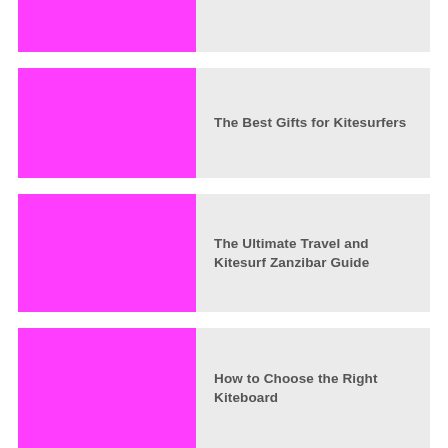[Figure (illustration): Partial magenta/pink rectangle image thumbnail, cropped at top]
[Figure (illustration): Solid magenta/pink rectangle image thumbnail]
The Best Gifts for Kitesurfers
[Figure (illustration): Solid magenta/pink rectangle image thumbnail]
The Ultimate Travel and Kitesurf Zanzibar Guide
[Figure (illustration): Solid magenta/pink rectangle image thumbnail, cropped at bottom]
How to Choose the Right Kiteboard